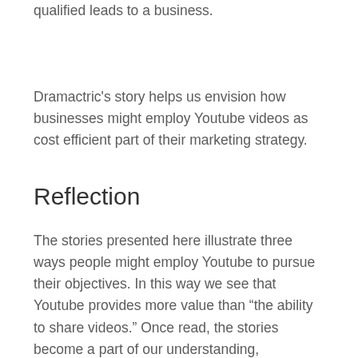qualified leads to a business.
Dramactric's story helps us envision how businesses might employ Youtube videos as cost efficient part of their marketing strategy.
Reflection
The stories presented here illustrate three ways people might employ Youtube to pursue their objectives. In this way we see that Youtube provides more value than “the ability to share videos.” Once read, the stories become a part of our understanding, connecting the Youtube product to the benefits realized by Youtube’s